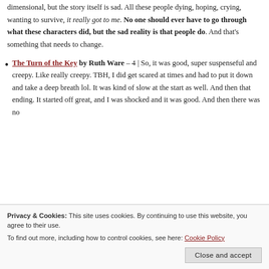dimensional, but the story itself is sad. All these people dying, hoping, crying, wanting to survive, it really got to me. No one should ever have to go through what these characters did, but the sad reality is that people do. And that's something that needs to change.
The Turn of the Key by Ruth Ware – 4 | So, it was good, super suspenseful and creepy. Like really creepy. TBH, I did get scared at times and had to put it down and take a deep breath lol. It was kind of slow at the start as well. And then that ending. It started off great, and I was shocked and it was good. And then there was no...
Privacy & Cookies: This site uses cookies. By continuing to use this website, you agree to their use.
To find out more, including how to control cookies, see here: Cookie Policy
Close and accept